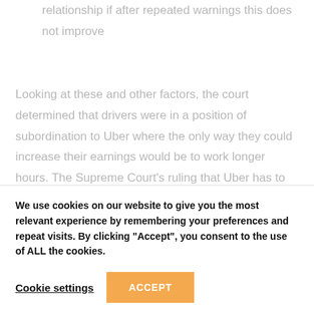relationship if after repeated warnings this does not improve
Looking at these and other factors, the court determined that drivers were in a position of subordination to Uber where the only way they could increase their earnings would be to work longer hours. The Supreme Court’s ruling that Uber has to consider its drivers “workers” from the time they log on to the app,
We use cookies on our website to give you the most relevant experience by remembering your preferences and repeat visits. By clicking “Accept”, you consent to the use of ALL the cookies.
Cookie settings
ACCEPT